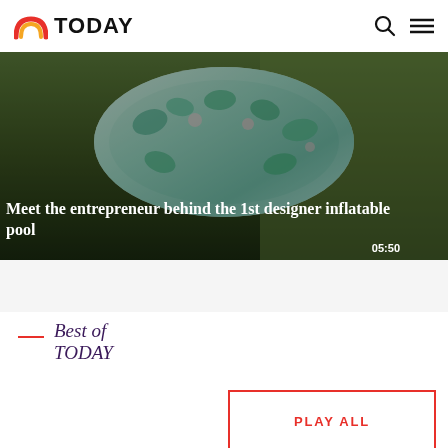TODAY
[Figure (screenshot): Video thumbnail showing a colorful floral inflatable pool outdoors on grass with a dark overlay]
Meet the entrepreneur behind the 1st designer inflatable pool
05:50
Best of TODAY
PLAY ALL